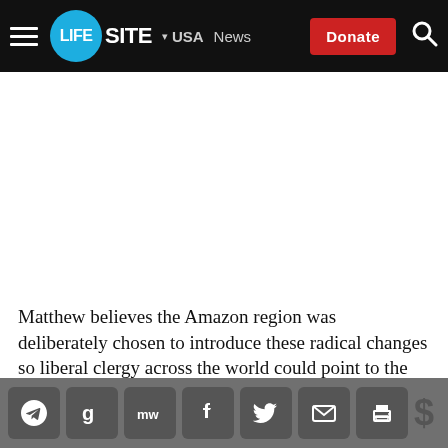LIFESITE — USA News — Donate
Matthew believes the Amazon region was deliberately chosen to introduce these radical changes so liberal clergy across the world could point to the region and be able to look at the “precedent such that the